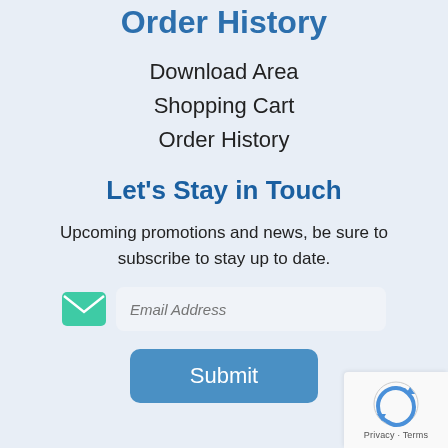Order History
Download Area
Shopping Cart
Order History
Let's Stay in Touch
Upcoming promotions and news, be sure to subscribe to stay up to date.
[Figure (other): Email subscription form with mail icon, email address input field, and submit button]
[Figure (other): reCAPTCHA widget with logo and Privacy · Terms text]